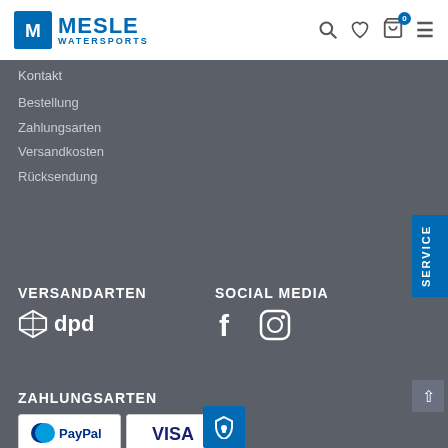[Figure (logo): Mesle Watersports logo with blue M icon and text]
Kontakt
Bestellung
Zahlungsarten
Versandkosten
Rücksendung
VERSANDARTEN
[Figure (logo): DPD delivery logo with cube icon]
SOCIAL MEDIA
[Figure (illustration): Facebook and Instagram social media icons]
ZAHLUNGSARTEN
[Figure (illustration): Payment method logos: PayPal, Visa, Mastercard, SEPA Lastschrift]